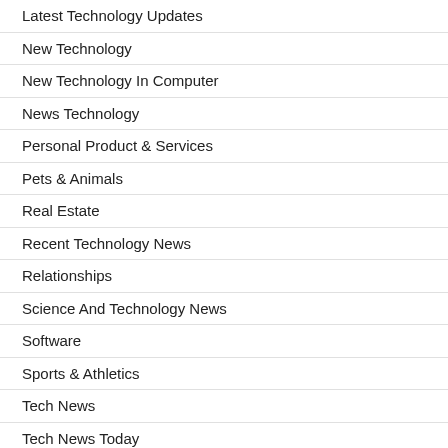Latest Technology Updates
New Technology
New Technology In Computer
News Technology
Personal Product & Services
Pets & Animals
Real Estate
Recent Technology News
Relationships
Science And Technology News
Software
Sports & Athletics
Tech News
Tech News Today